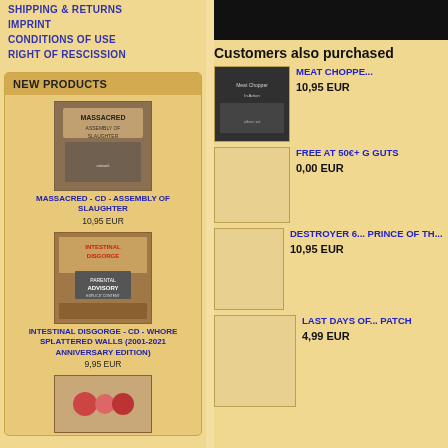SHIPPING & RETURNS
IMPRINT
CONDITIONS OF USE
RIGHT OF RESCISSION
NEW PRODUCTS
MASSACRED - CD - ASSEMBLY OF SLAUGHTER
10,95 EUR
INTESTINAL DISGORGE - CD - WHORE SPLATTERED WALLS (2001-2021 ANNIVERSARY EDITION)
9,95 EUR
Customers also purchased
MEAT CHOPPE...
10,95 EUR
FREE AT 50€+ C GUTS
0,00 EUR
DESTROYER 6... PRINCE OF TH...
10,95 EUR
LAST DAYS OF... PATCH
4,99 EUR